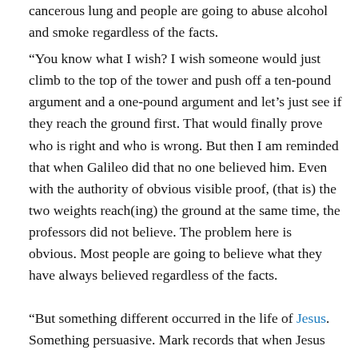cancerous lung and people are going to abuse alcohol and smoke regardless of the facts.
“You know what I wish? I wish someone would just climb to the top of the tower and push off a ten-pound argument and a one-pound argument and let’s just see if they reach the ground first. That would finally prove who is right and who is wrong. But then I am reminded that when Galileo did that no one believed him. Even with the authority of obvious visible proof, (that is) the two weights reach(ing) the ground at the same time, the professors did not believe. The problem here is obvious. Most people are going to believe what they have always believed regardless of the facts.
“But something different occurred in the life of Jesus. Something persuasive. Mark records that when Jesus